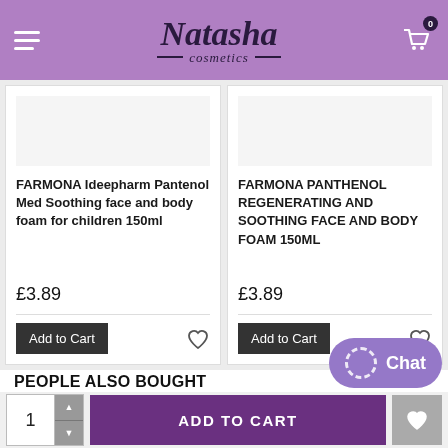[Figure (logo): Natasha Cosmetics header logo with purple background, hamburger menu, shopping cart icon with badge 0]
FARMONA Ideepharm Pantenol Med Soothing face and body foam for children 150ml
£3.89
FARMONA PANTHENOL REGENERATING AND SOOTHING FACE AND BODY FOAM 150ML
£3.89
PEOPLE ALSO BOUGHT
HOT
Chat
ADD TO CART